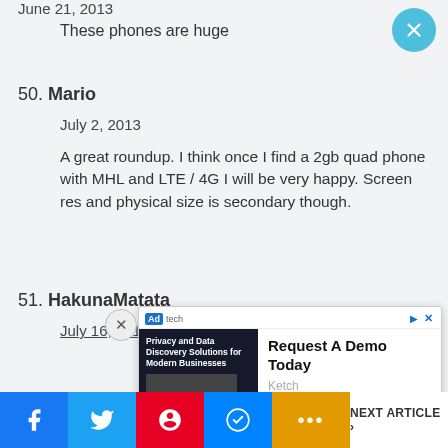June 21, 2013
These phones are huge
50. Mario
July 2, 2013
A great roundup. I think once I find a 2gb quad phone with MHL and LTE / 4G I will be very happy. Screen res and physical size is secondary though.
51. HakunaMatata
July 16, 2013
[Figure (screenshot): Advertisement overlay: 'Request A Demo Today' for Ketch privacy and data discovery solutions, with Learn More button]
Facebook | Twitter | Pinterest | Messenger | More | NEXT ARTICLE